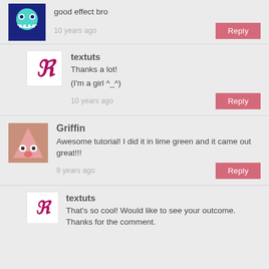good effect bro
10 years ago
Reply
textuts
Thanks a lot!
(I'm a girl ^_^)
10 years ago
Reply
Griffin
Awesome tutorial! I did it in lime green and it came out great!!!
9 years ago
Reply
textuts
That's so cool! Would like to see your outcome. Thanks for the comment.